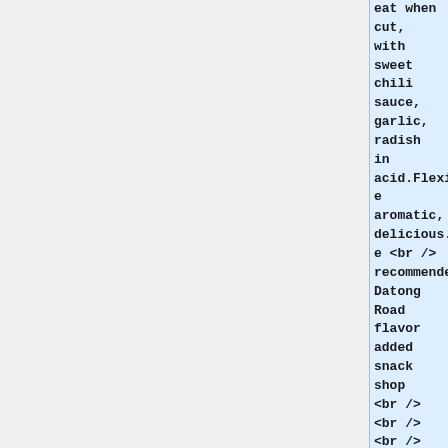eat when cut, with sweet chili sauce, garlic, radish in acid.Flexible aromatic, delicious.The <br /> recommended: Datong Road flavor added snack shop <br /><br /> <br /> <br /><br /> <br /> with fried spiced minced pork pork as the main